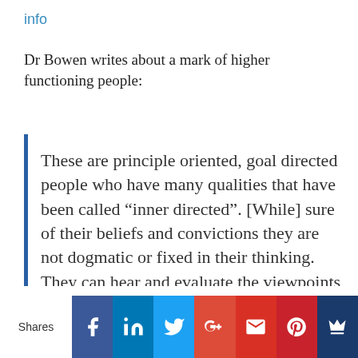info
Dr Bowen writes about a mark of higher functioning people:
These are principle oriented, goal directed people who have many qualities that have been called “inner directed”. [While] sure of their beliefs and convictions they are not dogmatic or fixed in their thinking. They can hear and evaluate the viewpoints of others and discard old beliefs in favour of new. They are sufficiently secure
Shares | Facebook | LinkedIn | Twitter | Google+ | Gmail | Pinterest | Crown